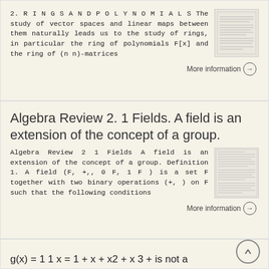2. R I N G S A N D P O L Y N O M I A L S The study of vector spaces and linear maps between them naturally leads us to the study of rings, in particular the ring of polynomials F[x] and the ring of (n n)-matrices
More information →
Algebra Review 2. 1 Fields. A field is an extension of the concept of a group.
Algebra Review 2 1 Fields A field is an extension of the concept of a group. Definition 1. A field (F, +,, 0 F, 1 F ) is a set F together with two binary operations (+, ) on F such that the following conditions
More information →
g(x) = 1 1 x = 1 + x + x2 + x 3 + is not a